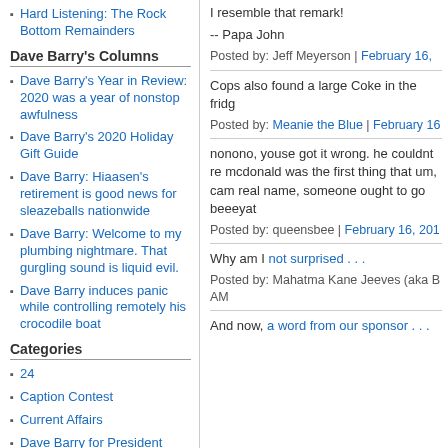Hard Listening: The Rock Bottom Remainders
Dave Barry's Columns
Dave Barry's Year in Review: 2020 was a year of nonstop awfulness
Dave Barry's 2020 Holiday Gift Guide
Dave Barry: Hiaasen's retirement is good news for sleazeballs nationwide
Dave Barry: Welcome to my plumbing nightmare. That gurgling sound is liquid evil.
Dave Barry induces panic while controlling remotely his crocodile boat
Categories
24
Caption Contest
Current Affairs
Dave Barry for President
Do Not Click This Link
I resemble that remark!
-- Papa John
Posted by: Jeff Meyerson | February 16,
Cops also found a large Coke in the fridg
Posted by: Meanie the Blue | February 16
nonono, youse got it wrong. he couldnt re mcdonald was the first thing that um, cam real name, someone ought to go beeeyat
Posted by: queensbee | February 16, 201
Why am I not surprised . . .
Posted by: Mahatma Kane Jeeves (aka B AM
And now, a word from our sponsor . . .